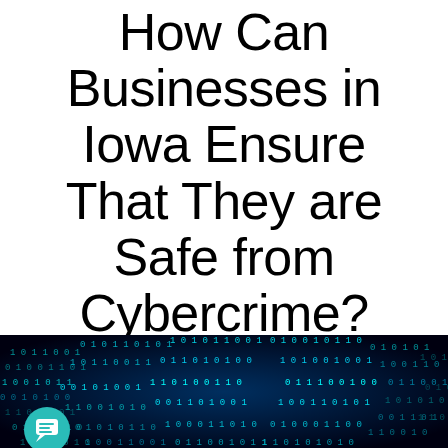How Can Businesses in Iowa Ensure That They are Safe from Cybercrime?
[Figure (illustration): Dark blue digital binary code stream image with glowing cyan 0s and 1s radiating outward from center, with a teal circular chat/comment icon in the bottom-left corner]